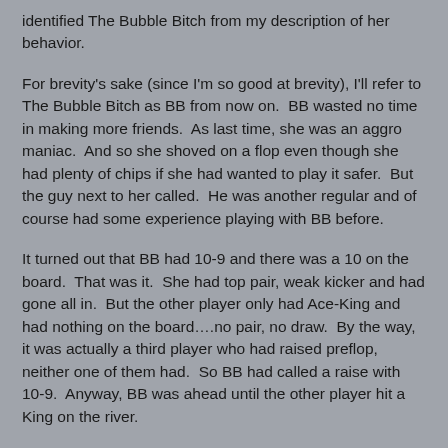identified The Bubble Bitch from my description of her behavior.
For brevity's sake (since I'm so good at brevity), I'll refer to The Bubble Bitch as BB from now on.  BB wasted no time in making more friends.  As last time, she was an aggro maniac.  And so she shoved on a flop even though she had plenty of chips if she had wanted to play it safer.  But the guy next to her called.  He was another regular and of course had some experience playing with BB before.
It turned out that BB had 10-9 and there was a 10 on the board.  That was it.  She had top pair, weak kicker and had gone all in.  But the other player only had Ace-King and had nothing on the board….no pair, no draw.  By the way, it was actually a third player who had raised preflop, neither one of them had.  So BB had called a raise with 10-9.  Anyway, BB was ahead until the other player hit a King on the river.
We all found that hand very interesting.  BB didn't say anything to other guy at first, but she was shooting daggers at him with her eyes.  You could see the faint hint of smoke